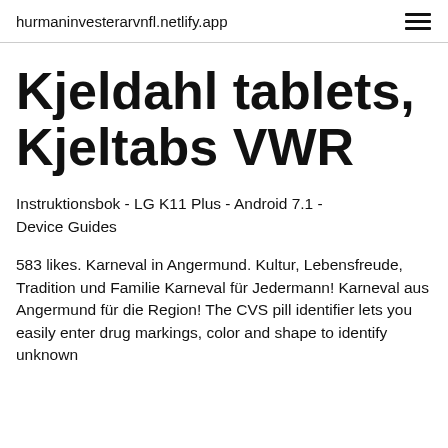hurmaninvesterarvnfl.netlify.app
Kjeldahl tablets, Kjeltabs VWR
Instruktionsbok - LG K11 Plus - Android 7.1 - Device Guides
583 likes. Karneval in Angermund. Kultur, Lebensfreude, Tradition und Familie Karneval für Jedermann! Karneval aus Angermund für die Region! The CVS pill identifier lets you easily enter drug markings, color and shape to identify unknown